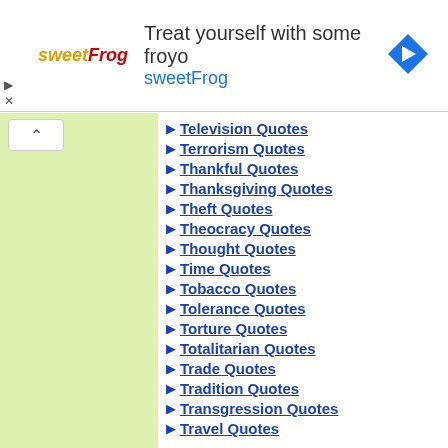[Figure (infographic): Advertisement banner for sweetFrog frozen yogurt: logo with 'sweetFrog' text, headline 'Treat yourself with some froyo', subline 'sweetFrog', and a blue diamond arrow icon on the right.]
Television Quotes
Terrorism Quotes
Thankful Quotes
Thanksgiving Quotes
Theft Quotes
Theocracy Quotes
Thought Quotes
Time Quotes
Tobacco Quotes
Tolerance Quotes
Torture Quotes
Totalitarian Quotes
Trade Quotes
Tradition Quotes
Transgression Quotes
Travel Quotes